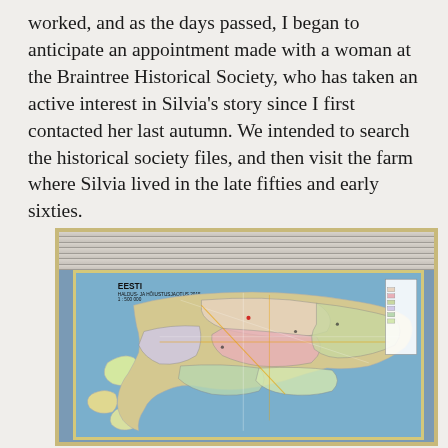worked, and as the days passed, I began to anticipate an appointment made with a woman at the Braintree Historical Society, who has taken an active interest in Silvia's story since I first contacted her last autumn. We intended to search the historical society files, and then visit the farm where Silvia lived in the late fifties and early sixties.
[Figure (photo): A photograph of a map of Estonia (EESTI) displayed on a wall, showing administrative and road divisions. The map is mounted on a tan/gold background, with a window blind visible at the top of the image.]